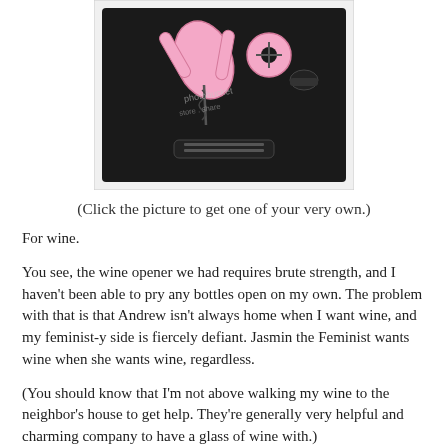[Figure (photo): A pink wine opener set (corkscrew and accessories) in a black case/tray, with a photobucket watermark overlay.]
(Click the picture to get one of your very own.)
For wine.
You see, the wine opener we had requires brute strength, and I haven't been able to pry any bottles open on my own. The problem with that is that Andrew isn't always home when I want wine, and my feminist-y side is fiercely defiant. Jasmin the Feminist wants wine when she wants wine, regardless.
(You should know that I'm not above walking my wine to the neighbor's house to get help. They're generally very helpful and charming company to have a glass of wine with.)
Now, there's no need. I love my pink gadget!